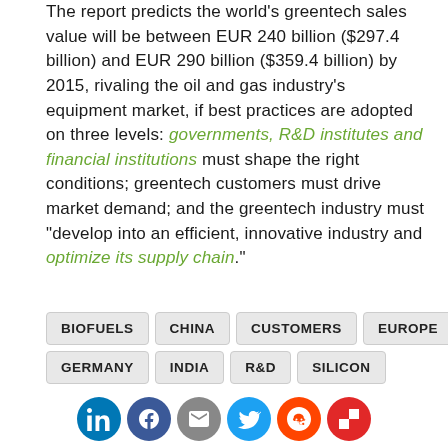The report predicts the world's greentech sales value will be between EUR 240 billion ($297.4 billion) and EUR 290 billion ($359.4 billion) by 2015, rivaling the oil and gas industry's equipment market, if best practices are adopted on three levels: governments, R&D institutes and financial institutions must shape the right conditions; greentech customers must drive market demand; and the greentech industry must "develop into an efficient, innovative industry and optimize its supply chain."
BIOFUELS
CHINA
CUSTOMERS
EUROPE
GERMANY
INDIA
R&D
SILICON